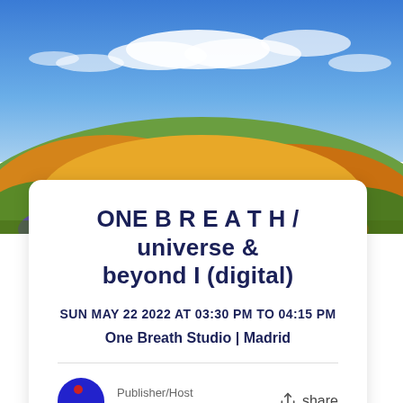[Figure (photo): Landscape photo showing colorful wildflower hills under a blue sky with white clouds — yellows, oranges, and greens in the foreground]
ONE B R E A T H / universe & beyond I (digital)
SUN MAY 22 2022 AT 03:30 PM TO 04:15 PM
One Breath Studio | Madrid
Publisher/Host
One Breath
share